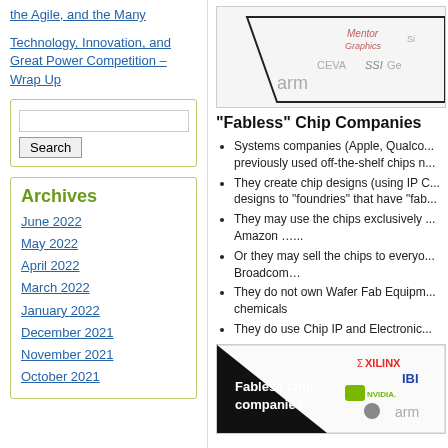the Agile, and the Many
Technology, Innovation, and Great Power Competition – Wrap Up
[Figure (screenshot): Search box widget]
Archives
June 2022
May 2022
April 2022
March 2022
January 2022
December 2021
November 2021
October 2021
[Figure (illustration): Top image showing chip company logos including Mentor Graphics, CEVA, SSI, Genie, ARM visible on a diagram background]
“Fabless” Chip Companies
Systems companies (Apple, Qualco... previously used off-the-shelf chips n...
They create chip designs (using IP C... designs to “foundries” that have “fab...
They may use the chips exclusively ... Amazon …..
Or they may sell the chips to everyo... Broadcom…
They do not own Wafer Fab Equipm... chemicals
They do use Chip IP and Electronic...
[Figure (illustration): Bottom image showing Fabless chip companies diagram with logos including Xilinx, IBM, NVIDIA, ARM, Apple]